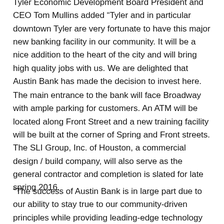Tyler Economic Development Board President and CEO Tom Mullins added “Tyler and in particular downtown Tyler are very fortunate to have this major new banking facility in our community. It will be a nice addition to the heart of the city and will bring high quality jobs with us. We are delighted that Austin Bank has made the decision to invest here.
The main entrance to the bank will face Broadway with ample parking for customers. An ATM will be located along Front Street and a new training facility will be built at the corner of Spring and Front streets. The SLI Group, Inc. of Houston, a commercial design / build company, will also serve as the general contractor and completion is slated for late spring 2016.
“The success of Austin Bank is in large part due to our ability to stay true to our community-driven principles while providing leading-edge technology and convenience,” said Vice President Jeff Austin III.